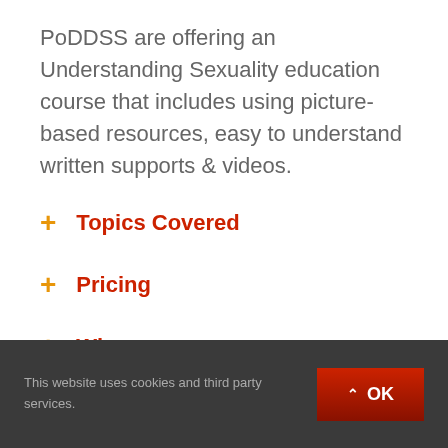PoDDSS are offering an Understanding Sexuality education course that includes using picture-based resources, easy to understand written supports & videos.
+ Topics Covered
+ Pricing
+ When
This website uses cookies and third party services. OK